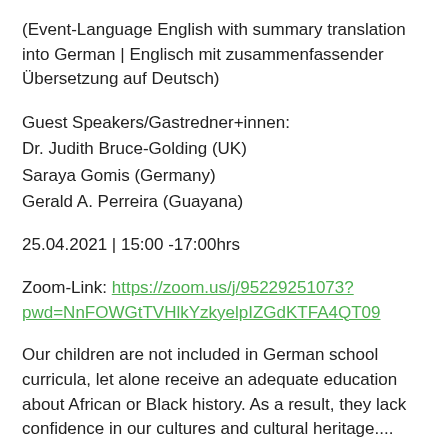(Event-Language English with summary translation into German | Englisch mit zusammenfassender Übersetzung auf Deutsch)
Guest Speakers/Gastredner+innen:
Dr. Judith Bruce-Golding (UK)
Saraya Gomis (Germany)
Gerald A. Perreira (Guayana)
25.04.2021 | 15:00 -17:00hrs
Zoom-Link: https://zoom.us/j/95229251073?pwd=NnFOWGtTVHlkYzkyelpIZGdKTFA4QT09
Our children are not included in German school curricula, let alone receive an adequate education about African or Black history. As a result, they lack confidence in our cultures and cultural heritage....